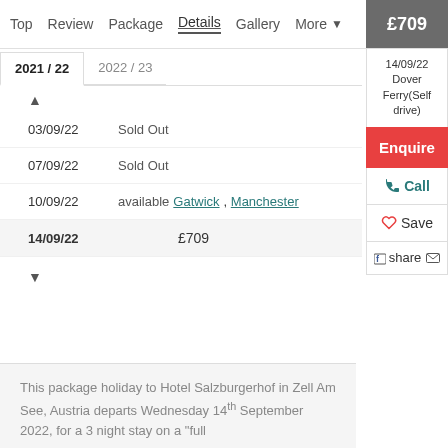Top | Review | Package | Details | Gallery | More ▾ | £709
14/09/22 Dover Ferry(Self drive)
| Date | Status/Price |
| --- | --- |
| 03/09/22 | Sold Out |
| 07/09/22 | Sold Out |
| 10/09/22 | available Gatwick, Manchester |
| 14/09/22 | £709 |
This package holiday to Hotel Salzburgerhof in Zell Am See, Austria departs Wednesday 14th September 2022, for a 3 night stay on a "full